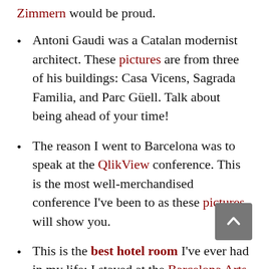Zimmern would be proud.
Antoni Gaudi was a Catalan modernist architect. These pictures are from three of his buildings: Casa Vicens, Sagrada Familia, and Parc Güell. Talk about being ahead of your time!
The reason I went to Barcelona was to speak at the QlikView conference. This is the most well-merchandised conference I've been to as these pictures will show you.
This is the best hotel room I've ever had in my life; I stayed at the Barcelona Arts Hotel.
Here is a gallery of other photos that I took